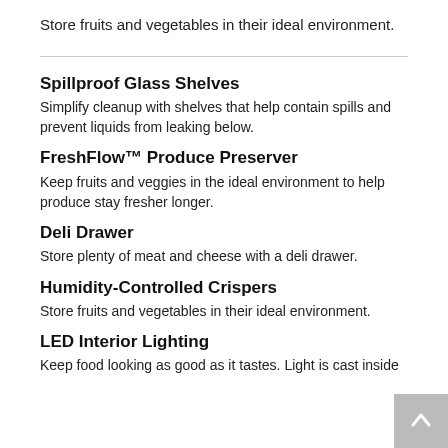Store fruits and vegetables in their ideal environment.
Spillproof Glass Shelves
Simplify cleanup with shelves that help contain spills and prevent liquids from leaking below.
FreshFlow™ Produce Preserver
Keep fruits and veggies in the ideal environment to help produce stay fresher longer.
Deli Drawer
Store plenty of meat and cheese with a deli drawer.
Humidity-Controlled Crispers
Store fruits and vegetables in their ideal environment.
LED Interior Lighting
Keep food looking as good as it tastes. Light is cast inside the refrigerator for a bold, brilliant appearance to...